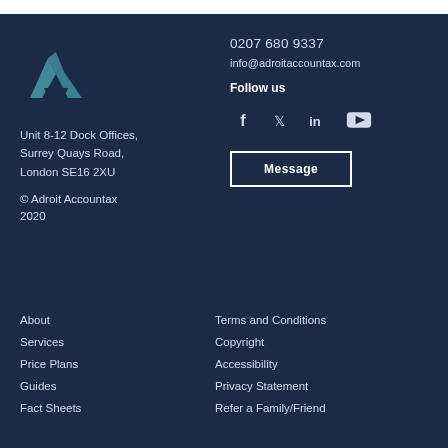[Figure (logo): Adroit Accountax logo — teal/blue triangular arrow-shaped symbol]
Unit 8-12 Dock Offices, Surrey Quays Road, London SE16 2XU
© Adroit Accountax 2020
0207 680 9337
info@adroitaccountax.com
Follow us
[Figure (infographic): Social media icons: Facebook, Twitter, LinkedIn, YouTube]
Message
About
Services
Price Plans
Guides
Fact Sheets
Terms and Conditions
Copyright
Accessibility
Privacy Statement
Refer a Family/Friend